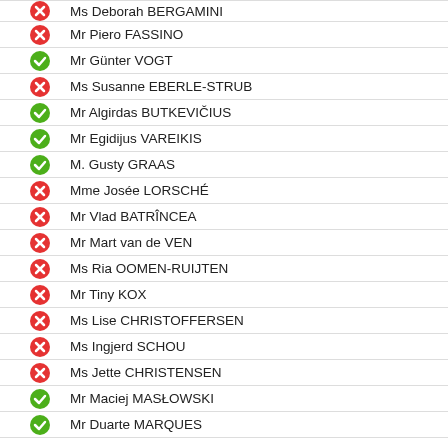Ms Deborah BERGAMINI
Mr Piero FASSINO
Mr Günter VOGT
Ms Susanne EBERLE-STRUB
Mr Algirdas BUTKEVIČIUS
Mr Egidijus VAREIKIS
M. Gusty GRAAS
Mme Josée LORSCHÉ
Mr Vlad BATRÎNCEA
Mr Mart van de VEN
Ms Ria OOMEN-RUIJTEN
Mr Tiny KOX
Ms Lise CHRISTOFFERSEN
Ms Ingjerd SCHOU
Ms Jette CHRISTENSEN
Mr Maciej MASŁOWSKI
Mr Duarte MARQUES